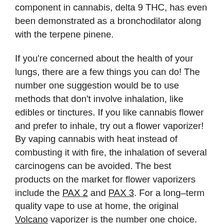component in cannabis, delta 9 THC, has even been demonstrated as a bronchodilator along with the terpene pinene.
If you're concerned about the health of your lungs, there are a few things you can do! The number one suggestion would be to use methods that don't involve inhalation, like edibles or tinctures. If you like cannabis flower and prefer to inhale, try out a flower vaporizer! By vaping cannabis with heat instead of combusting it with fire, the inhalation of several carcinogens can be avoided. The best products on the market for flower vaporizers include the PAX 2 and PAX 3. For a long-term quality vape to use at home, the original Volcano vaporizer is the number one choice.
To keep with your old school style of a pipe, bong or joint, there are a few simple tricks to create fewer carcinogens from the smoke. One is to stick with glass smoking pieces that have a longer stem. If you're looking to use a bong, a